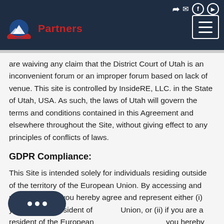InsideRE Partners - navigation header with logo and menu
are waiving any claim that the District Court of Utah is an inconvenient forum or an improper forum based on lack of venue. This site is controlled by InsideRE, LLC. in the State of Utah, USA. As such, the laws of Utah will govern the terms and conditions contained in this Agreement and elsewhere throughout the Site, without giving effect to any principles of conflicts of laws.
GDPR Compliance:
This Site is intended solely for individuals residing outside of the territory of the European Union. By accessing and using this Site, you hereby agree and represent either (i) you are not a resident of Union, or (ii) if you are a resident of the European Union, you hereby provide express consent to any personal information which may be collected from you on this Site...